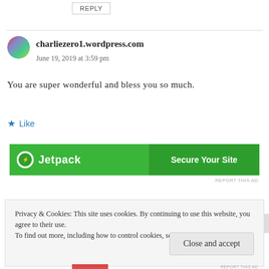REPLY
charliezero1.wordpress.com
June 19, 2019 at 3:59 pm
You are super wonderful and bless you so much.
Like
[Figure (screenshot): Jetpack 'Secure Your Site' advertisement banner in green]
REPORT THIS AD
Privacy & Cookies: This site uses cookies. By continuing to use this website, you agree to their use.
To find out more, including how to control cookies, see here: Cookie Policy
Close and accept